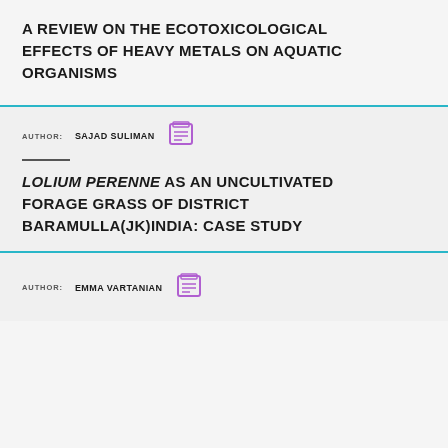A REVIEW ON THE ECOTOXICOLOGICAL EFFECTS OF HEAVY METALS ON AQUATIC ORGANISMS
AUTHOR: SAJAD SULIMAN
LOLIUM PERENNE AS AN UNCULTIVATED FORAGE GRASS OF DISTRICT BARAMULLA(JK)INDIA: CASE STUDY
AUTHOR: EMMA VARTANIAN